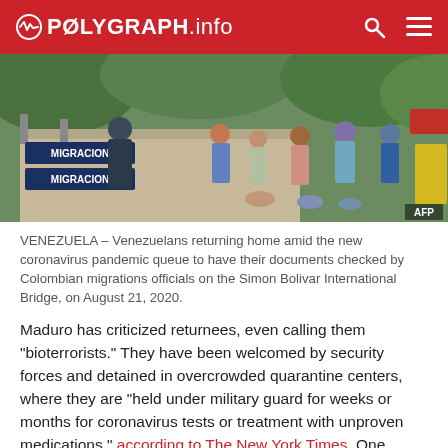POLYGRAPH.info
[Figure (photo): People queuing at the Simon Bolivar International Bridge, with migration officials checking documents. Sign reads MIGRACION. AFP watermark in bottom right.]
VENEZUELA – Venezuelans returning home amid the new coronavirus pandemic queue to have their documents checked by Colombian migrations officials on the Simon Bolivar International Bridge, on August 21, 2020.
Maduro has criticized returnees, even calling them “bioterrorists.” They have been welcomed by security forces and detained in overcrowded quarantine centers, where they are “held under military guard for weeks or months for coronavirus tests or treatment with unproven medications,” according to The New York Times. One nurse who spent 70 days in centers